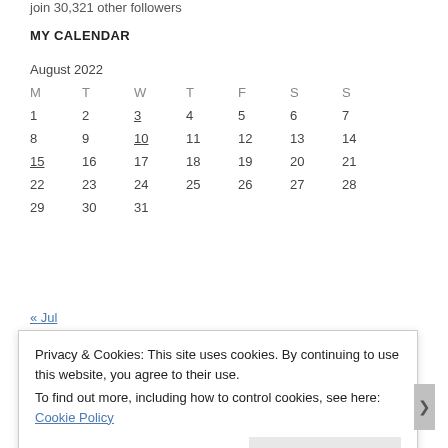join 30,321 other followers
MY CALENDAR
| M | T | W | T | F | S | S |
| --- | --- | --- | --- | --- | --- | --- |
| 1 | 2 | 3 | 4 | 5 | 6 | 7 |
| 8 | 9 | 10 | 11 | 12 | 13 | 14 |
| 15 | 16 | 17 | 18 | 19 | 20 | 21 |
| 22 | 23 | 24 | 25 | 26 | 27 | 28 |
| 29 | 30 | 31 |  |  |  |  |
« Jul
Privacy & Cookies: This site uses cookies. By continuing to use this website, you agree to their use.
To find out more, including how to control cookies, see here: Cookie Policy
Close and accept